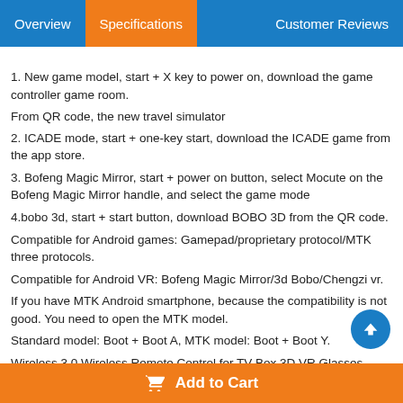Overview | Specifications | Customer Reviews
1. New game model, start + X key to power on, download the game controller game room.
From QR code, the new travel simulator
2. ICADE mode, start + one-key start, download the ICADE game from the app store.
3. Bofeng Magic Mirror, start + power on button, select Mocute on the Bofeng Magic Mirror handle, and select the game mode
4.bobo 3d, start + start button, download BOBO 3D from the QR code.
Compatible for Android games: Gamepad/proprietary protocol/MTK three protocols.
Compatible for Android VR: Bofeng Magic Mirror/3d Bobo/Chengzi vr.
If you have MTK Android smartphone, because the compatibility is not good. You need to open the MTK model.
Standard model: Boot + Boot A, MTK model: Boot + Boot Y.
Wireless 3.0 Wireless Remote Control for TV Box 3D VR Glasses Shinecon
Add to Cart